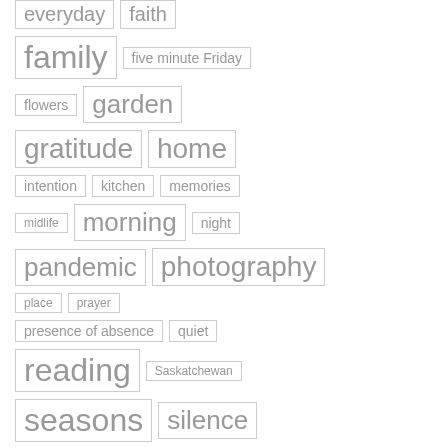everyday
faith
family
five minute Friday
flowers
garden
gratitude
home
intention
kitchen
memories
midlife
morning
night
pandemic
photography
place
prayer
presence of absence
quiet
reading
Saskatchewan
seasons
silence